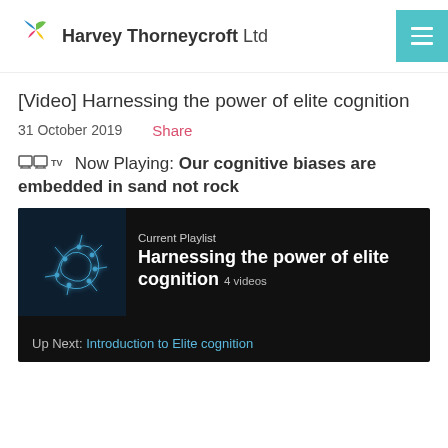Harvey Thorneycroft Ltd
[Video] Harnessing the power of elite cognition
31 October 2019   Share
Now Playing: Our cognitive biases are embedded in sand not rock
[Figure (screenshot): Video player showing 'Current Playlist: Harnessing the power of elite cognition 4 videos' with a brain thumbnail. Up Next: Introduction to Elite cognition]